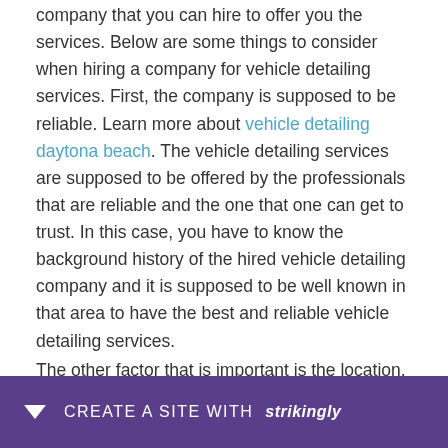company that you can hire to offer you the services. Below are some things to consider when hiring a company for vehicle detailing services. First, the company is supposed to be reliable. Learn more about vehicle detailing daytona beach. The vehicle detailing services are supposed to be offered by the professionals that are reliable and the one that one can get to trust. In this case, you have to know the background history of the hired vehicle detailing company and it is supposed to be well known in that area to have the best and reliable vehicle detailing services.
The other factor that is important is the location. You h... as that ... e a
CREATE A SITE WITH strikingly